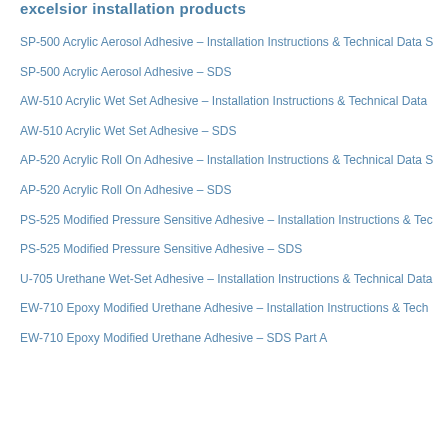excelsior installation products
SP-500 Acrylic Aerosol Adhesive – Installation Instructions & Technical Data S
SP-500 Acrylic Aerosol Adhesive – SDS
AW-510 Acrylic Wet Set Adhesive – Installation Instructions & Technical Data
AW-510 Acrylic Wet Set Adhesive – SDS
AP-520 Acrylic Roll On Adhesive – Installation Instructions & Technical Data S
AP-520 Acrylic Roll On Adhesive – SDS
PS-525 Modified Pressure Sensitive Adhesive – Installation Instructions & Tec
PS-525 Modified Pressure Sensitive Adhesive – SDS
U-705 Urethane Wet-Set Adhesive – Installation Instructions & Technical Data
EW-710 Epoxy Modified Urethane Adhesive – Installation Instructions & Tech
EW-710 Epoxy Modified Urethane Adhesive – SDS Part A